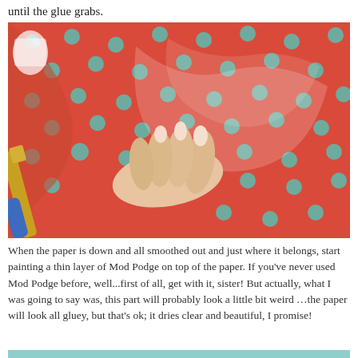until the glue grabs.
[Figure (photo): A hand pressing down red polka-dot paper onto a surface while holding a blue and gold tool, demonstrating smoothing of paper with Mod Podge technique.]
When the paper is down and all smoothed out and just where it belongs, start painting a thin layer of Mod Podge on top of the paper. If you've never used Mod Podge before, well...first of all, get with it, sister! But actually, what I was going to say was, this part will probably look a little bit weird ...the paper will look all gluey, but that's ok; it dries clear and beautiful, I promise!